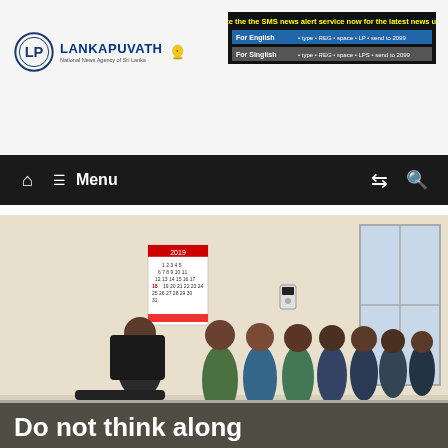LANKAPUVATH - National News Agency of Sri Lanka
[Figure (screenshot): SMS news alert service banner advertisement for Lankapuvath showing instructions for English and Sinhalese subscription]
[Figure (screenshot): Navigation bar with home icon, hamburger menu icon, Menu text, shuffle icon, and search icon on dark background]
[Figure (photo): Group of young men seated and standing in an office room with a wall calendar and intercom. A semi-transparent overlay at the bottom shows the beginning of a headline.]
Do not think along